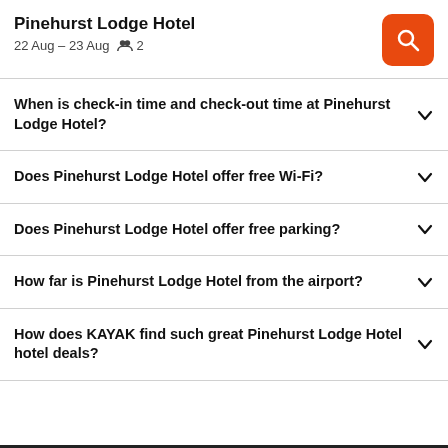Pinehurst Lodge Hotel
22 Aug – 23 Aug   👥 2
When is check-in time and check-out time at Pinehurst Lodge Hotel?
Does Pinehurst Lodge Hotel offer free Wi-Fi?
Does Pinehurst Lodge Hotel offer free parking?
How far is Pinehurst Lodge Hotel from the airport?
How does KAYAK find such great Pinehurst Lodge Hotel hotel deals?